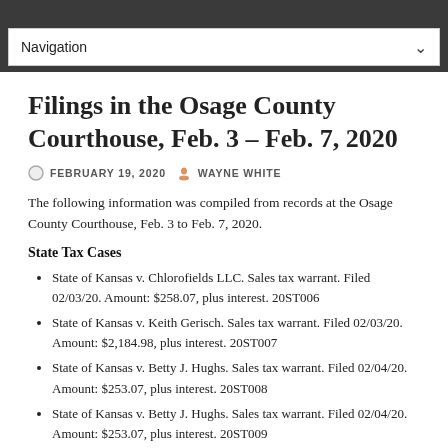Navigation
Filings in the Osage County Courthouse, Feb. 3 – Feb. 7, 2020
FEBRUARY 19, 2020   WAYNE WHITE
The following information was compiled from records at the Osage County Courthouse, Feb. 3 to Feb. 7, 2020.
State Tax Cases
State of Kansas v. Chlorofields LLC. Sales tax warrant. Filed 02/03/20. Amount: $258.07, plus interest. 20ST006
State of Kansas v. Keith Gerisch. Sales tax warrant. Filed 02/03/20. Amount: $2,184.98, plus interest. 20ST007
State of Kansas v. Betty J. Hughs. Sales tax warrant. Filed 02/04/20. Amount: $253.07, plus interest. 20ST008
State of Kansas v. Betty J. Hughs. Sales tax warrant. Filed 02/04/20. Amount: $253.07, plus interest. 20ST009